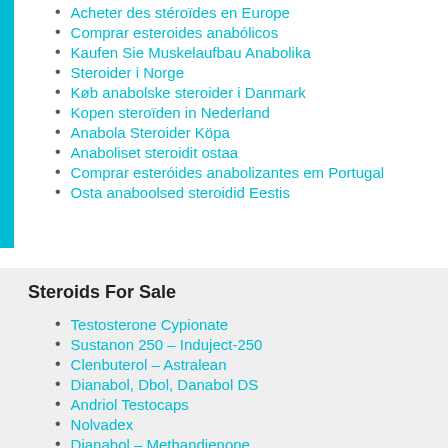Acheter des stéroïdes en Europe
Comprar esteroides anabólicos
Kaufen Sie Muskelaufbau Anabolika
Steroider i Norge
Køb anabolske steroider i Danmark
Kopen steroïden in Nederland
Anabola Steroider Köpa
Anaboliset steroidit ostaa
Comprar esteróides anabolizantes em Portugal
Osta anaboolsed steroidid Eestis
Steroids For Sale
Testosterone Cypionate
Sustanon 250 – Induject-250
Clenbuterol – Astralean
Dianabol, Dbol, Danabol DS
Andriol Testocaps
Nolvadex
Dianabol – Methandienone